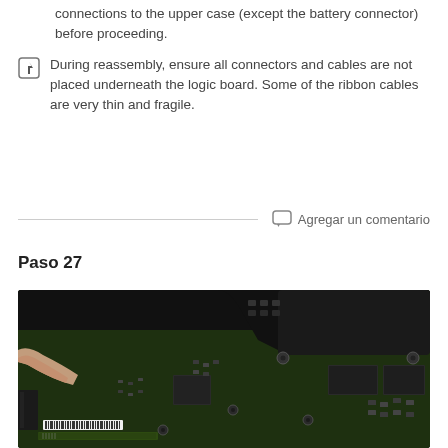connections to the upper case (except the battery connector) before proceeding.
During reassembly, ensure all connectors and cables are not placed underneath the logic board. Some of the ribbon cables are very thin and fragile.
Agregar un comentario
Paso 27
[Figure (photo): Close-up photo of a MacBook logic board being handled, showing green PCB with various chips, capacitors, and connectors, with a person's finger visible at the left side.]